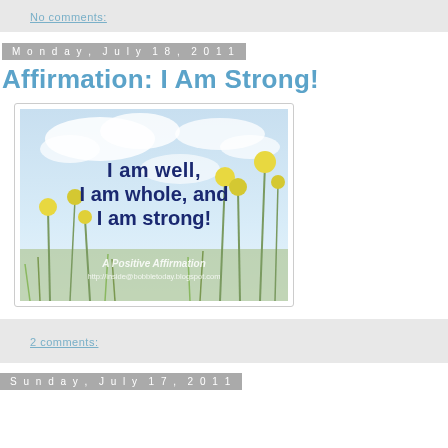No comments:
Monday, July 18, 2011
Affirmation: I Am Strong!
[Figure (photo): Inspirational affirmation image with yellow wildflowers against a blue sky background. Text reads: 'I am well, I am whole, and I am strong!' with watermark 'A Positive Affirmation http://inside@bobbletoday.blogspot.com']
2 comments:
Sunday, July 17, 2011